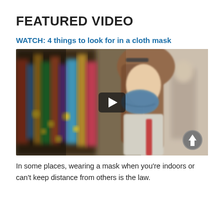FEATURED VIDEO
WATCH: 4 things to look for in a cloth mask
[Figure (photo): Screenshot of a video thumbnail showing a young woman wearing a blue cloth face mask in what appears to be a retail store aisle. A play button overlay is visible in the center of the image, and a scroll/share icon is in the bottom right corner.]
In some places, wearing a mask when you're indoors or can't keep distance from others is the law.